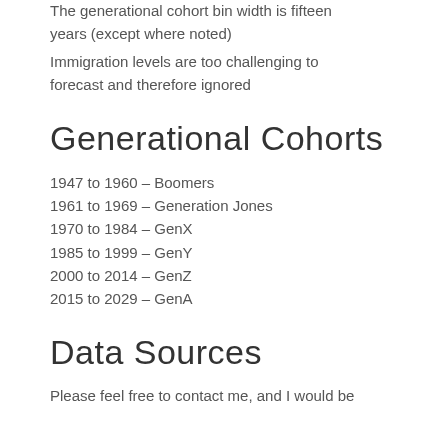The generational cohort bin width is fifteen years (except where noted)
Immigration levels are too challenging to forecast and therefore ignored
Generational Cohorts
1947 to 1960 – Boomers
1961 to 1969 – Generation Jones
1970 to 1984 – GenX
1985 to 1999 – GenY
2000 to 2014 – GenZ
2015 to 2029 – GenA
Data Sources
Please feel free to contact me, and I would be